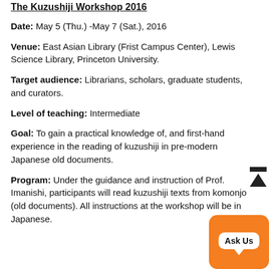The Kuzushiji Workshop 2016
Date: May 5 (Thu.) -May 7 (Sat.), 2016
Venue: East Asian Library (Frist Campus Center), Lewis Science Library, Princeton University.
Target audience: Librarians, scholars, graduate students, and curators.
Level of teaching: Intermediate
Goal: To gain a practical knowledge of, and first-hand experience in the reading of kuzushiji in pre-modern Japanese old documents.
Program: Under the guidance and instruction of Prof. Imanishi, participants will read kuzushiji texts from komonjo (old documents). All instructions at the workshop will be in Japanese.